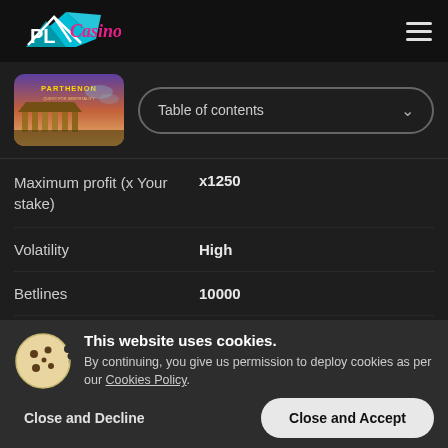[Figure (logo): PlayCasino logo with teal geometric shape and cursive text]
[Figure (screenshot): Parthenon game thumbnail with purple sky and ancient temple]
Table of contents
| Property | Value |
| --- | --- |
| Maximum profit (x Your stake) | x1250 |
| Volatility | High |
| Betlines | 10000 |
| Maximum stake | 200 |
This website uses cookies. By continuing, you give us permission to deploy cookies as per our Cookies Policy.
Close and Decline
Close and Accept